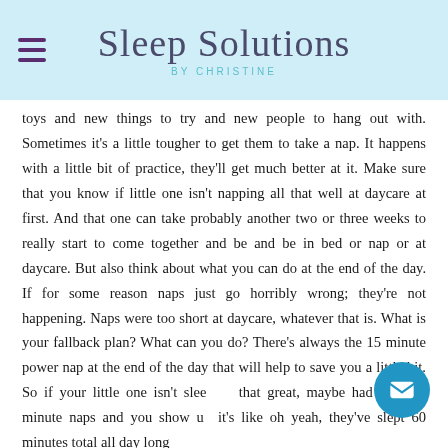Sleep Solutions by Christine
toys and new things to try and new people to hang out with. Sometimes it's a little tougher to get them to take a nap. It happens with a little bit of practice, they'll get much better at it. Make sure that you know if little one isn't napping all that well at daycare at first. And that one can take probably another two or three weeks to really start to come together and be and be in bed or nap or at daycare. But also think about what you can do at the end of the day. If for some reason naps just go horribly wrong; they're not happening. Naps were too short at daycare, whatever that is. What is your fallback plan? What can you do? There's always the 15 minute power nap at the end of the day that will help to save you a little bit. So if your little one isn't sleeping that great, maybe had two, 30 minute naps and you show up it's like oh yeah, they've slept 60 minutes total all day long